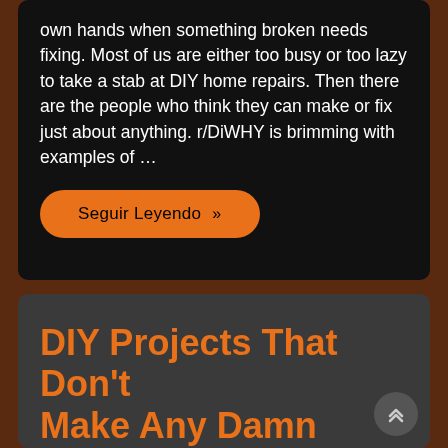own hands when something broken needs fixing. Most of us are either too busy or too lazy to take a stab at DIY home repairs. Then there are the people who think they can make or fix just about anything. r/DiWHY is brimming with examples of …
Seguir Leyendo »
DIY Projects That Don't Make Any Damn Sense
PUBLICADO EL NOVIEMBRE 30, 2020 \ POR \
AMATEUR, BAD DESIGN, CARS, CRAFTING, CRINGE, CURSED IMAGES, DIY, DIY FAILS, FACEPALM, FAIL, FASHION IS MY PASSION, FUNNY, FUNNY PICS, FURNITURE, IKEA, LIFE HACKS, REPAIRS, UGLY DESIGN, WTF, YIKES